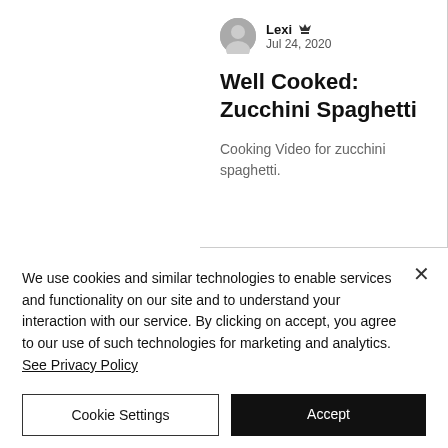[Figure (photo): Circular avatar placeholder with grey silhouette icon]
Lexi 👑
Jul 24, 2020
Well Cooked: Zucchini Spaghetti
Cooking Video for zucchini spaghetti.
We use cookies and similar technologies to enable services and functionality on our site and to understand your interaction with our service. By clicking on accept, you agree to our use of such technologies for marketing and analytics. See Privacy Policy